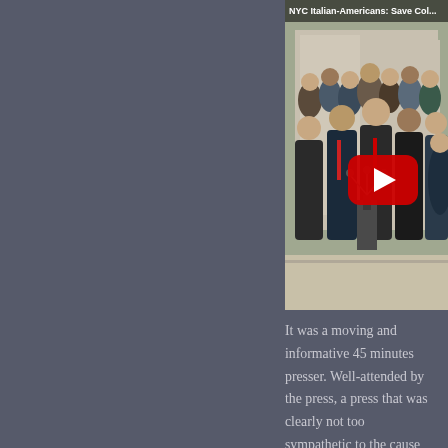[Figure (photo): A YouTube video thumbnail showing a large crowd of people at an outdoor press conference. A speaker stands at a podium with microphones. A red YouTube play button overlay is visible in the center-right of the image. The title bar at the top reads 'NYC Italian-Americans: Save Col...' (truncated).]
It was a moving and informative 45 minutes presser. Well-attended by the press, a press that was clearly not too sympathetic to the cause as was apparent in the Q and A. You can see and hear the disdain in the reporters' questions.